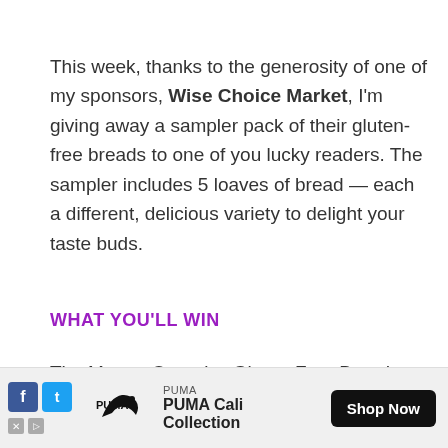This week, thanks to the generosity of one of my sponsors, Wise Choice Market, I'm giving away a sampler pack of their gluten-free breads to one of you lucky readers. The sampler includes 5 loaves of bread — each a different, delicious variety to delight your taste buds.
WHAT YOU'LL WIN
The Manna Organics Gluten-Free Bread Sampler includ...
[Figure (other): Advertisement banner for PUMA Cali Collection with social share icons (Facebook, Twitter), PUMA logo, and Shop Now button]